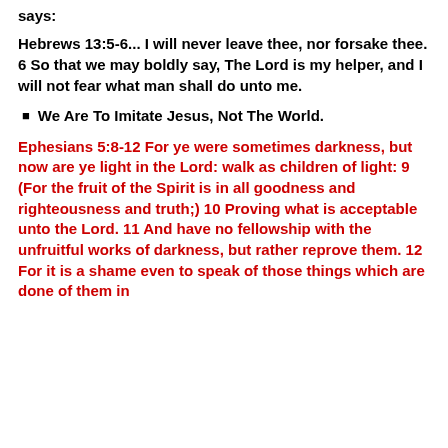says:
Hebrews 13:5-6... I will never leave thee, nor forsake thee. 6 So that we may boldly say, The Lord is my helper, and I will not fear what man shall do unto me.
We Are To Imitate Jesus, Not The World.
Ephesians 5:8-12 For ye were sometimes darkness, but now are ye light in the Lord: walk as children of light: 9 (For the fruit of the Spirit is in all goodness and righteousness and truth;) 10 Proving what is acceptable unto the Lord. 11 And have no fellowship with the unfruitful works of darkness, but rather reprove them. 12 For it is a shame even to speak of those things which are done of them in